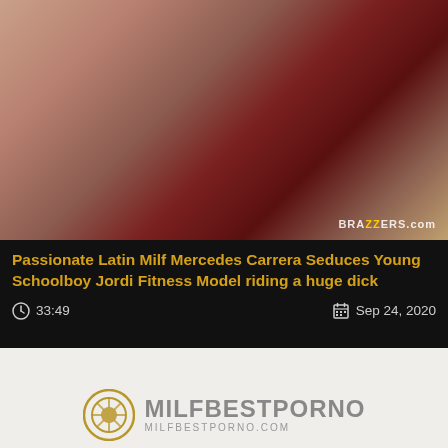[Figure (screenshot): Video thumbnail showing adult content from Brazzers]
Passionate Latin Milf Mercedes Carrera Seduces Young Schoolboy Jordi Fitness Model riding a huge dick
33:49
Sep 24, 2020
[Figure (logo): MilfBestPorno logo with camera aperture icon]
MilfBestPorno © 2022. All Rights Reserved.
Home | Pornstars | Hot Milf Videos | DMCA